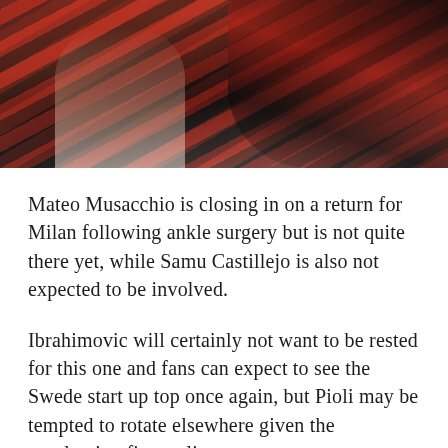[Figure (photo): AC Milan players in red and black striped kit, partial view cropped at top of page]
Mateo Musacchio is closing in on a return for Milan following ankle surgery but is not quite there yet, while Samu Castillejo is also not expected to be involved.
Ibrahimovic will certainly not want to be rested for this one and fans can expect to see the Swede start up top once again, but Pioli may be tempted to rotate elsewhere given the unrelenting fixture list.
Diaz, Sandro Tonali and Ante Rebic are among those who are vying for spots in the starting XI, with Manchester United linked Hakan